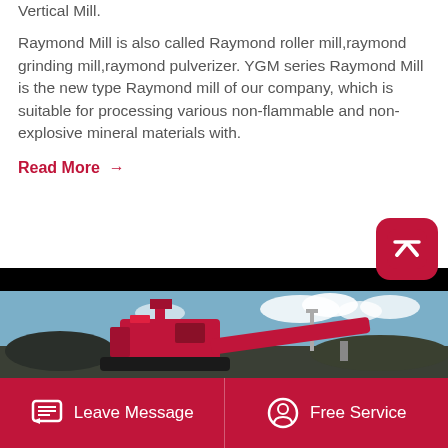Vertical Mill.
Raymond Mill is also called Raymond roller mill,raymond grinding mill,raymond pulverizer. YGM series Raymond Mill is the new type Raymond mill of our company, which is suitable for processing various non-flammable and non-explosive mineral materials with.
Read More →
[Figure (photo): Industrial mining equipment / crusher machinery at an outdoor quarry site with red conveyor belt machinery, rocks/gravel, and cloudy sky background]
Leave Message
Free Service